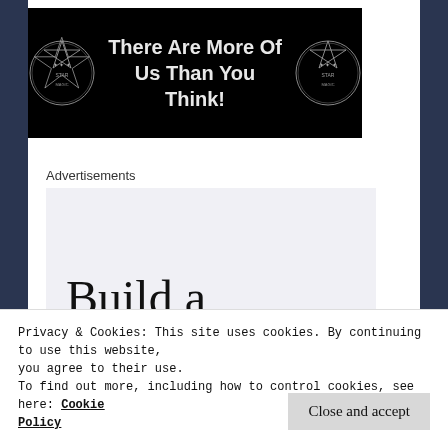[Figure (illustration): Dark banner with two pentagram star symbols on left and right, and bold white text reading 'There Are More Of Us Than You Think!' in the center]
Advertisements
[Figure (screenshot): Light gray advertisement block showing large serif text 'Build a writing habit. Post on' partially visible]
Privacy & Cookies: This site uses cookies. By continuing to use this website, you agree to their use.
To find out more, including how to control cookies, see here: Cookie Policy
Close and accept